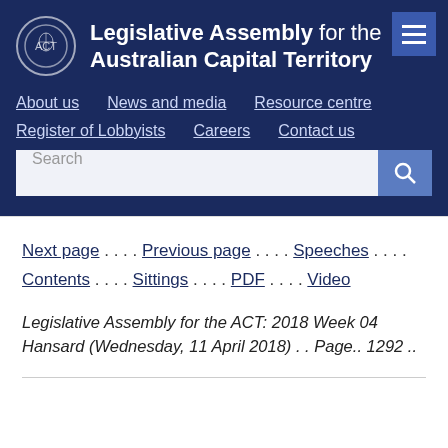Legislative Assembly for the Australian Capital Territory
Next page . . . . Previous page . . . . Speeches . . . . Contents . . . . Sittings . . . . PDF . . . . Video
Legislative Assembly for the ACT: 2018 Week 04 Hansard (Wednesday, 11 April 2018) . . Page.. 1292 ..